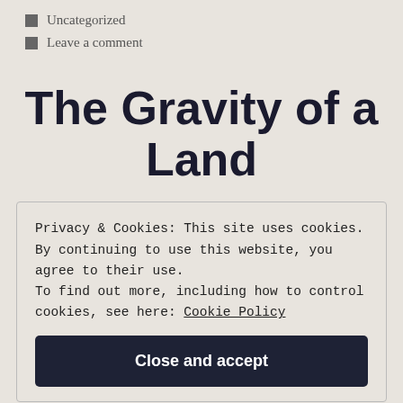Uncategorized
Leave a comment
The Gravity of a Land
Privacy & Cookies: This site uses cookies. By continuing to use this website, you agree to their use.
To find out more, including how to control cookies, see here: Cookie Policy
Close and accept